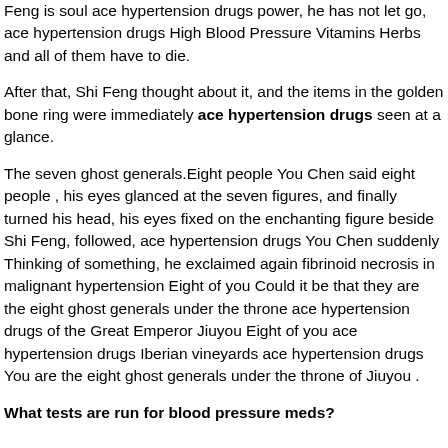Feng is soul ace hypertension drugs power, he has not let go, ace hypertension drugs High Blood Pressure Vitamins Herbs and all of them have to die.
After that, Shi Feng thought about it, and the items in the golden bone ring were immediately ace hypertension drugs seen at a glance.
The seven ghost generals.Eight people You Chen said eight people , his eyes glanced at the seven figures, and finally turned his head, his eyes fixed on the enchanting figure beside Shi Feng, followed, ace hypertension drugs You Chen suddenly Thinking of something, he exclaimed again fibrinoid necrosis in malignant hypertension Eight of you Could it be that they are the eight ghost generals under the throne ace hypertension drugs of the Great Emperor Jiuyou Eight of you ace hypertension drugs Iberian vineyards ace hypertension drugs You are the eight ghost generals under the throne of Jiuyou .
What tests are run for blood pressure meds?